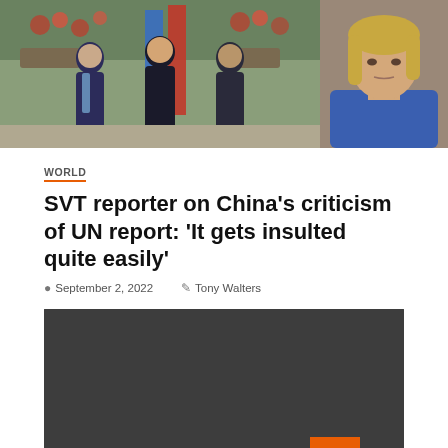[Figure (photo): Two photographs side by side at the top. Left photo shows people posing together in front of red and blue flags with flowers in background. Right photo shows a blonde woman in a blue top.]
WORLD
SVT reporter on China's criticism of UN report: 'It gets insulted quite easily'
September 2, 2022   Tony Walters
[Figure (screenshot): Dark gray video player embed area with an orange back-to-top button in the lower right corner showing a white upward arrow.]